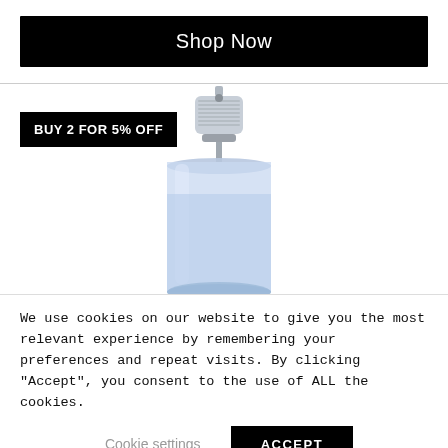Shop Now
[Figure (photo): Top portion of a perfume/fragrance spray bottle with a silver metallic pump nozzle and a light blue/lavender glass bottle body. Overlaid with a black promotional badge reading BUY 2 FOR 5% OFF.]
We use cookies on our website to give you the most relevant experience by remembering your preferences and repeat visits. By clicking “Accept”, you consent to the use of ALL the cookies.
Cookie settings
ACCEPT